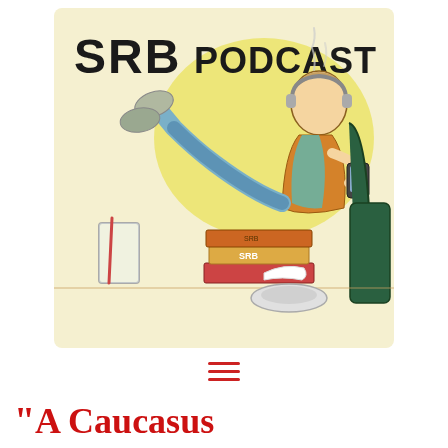[Figure (illustration): SRB Podcast logo illustration: a person with headphones reclines lazily with feet up, holding a phone, surrounded by stacked books labeled SRB, a glass with a pencil, and an ashtray. Text 'SRB PODCAST' in large hand-drawn block letters at the top on a yellow/cream background.]
[Figure (other): Hamburger menu icon — three horizontal red lines stacked vertically, centered on the page.]
“A Caucasus